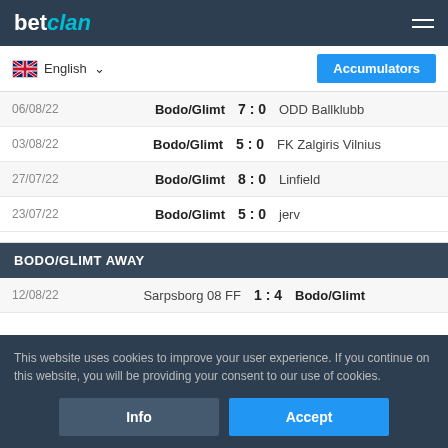betclan
English
Accumulators
| Date | Home | Score | Away |
| --- | --- | --- | --- |
| 06/08/22 | Bodo/Glimt | 7 : 0 | ODD Ballklubb |
| 03/08/22 | Bodo/Glimt | 5 : 0 | FK Zalgiris Vilnius |
| 27/07/22 | Bodo/Glimt | 8 : 0 | Linfield |
| 23/07/22 | Bodo/Glimt | 5 : 0 | jerv |
BODO/GLIMT AWAY
| Date | Home | Score | Away |
| --- | --- | --- | --- |
| 12/08/22 | Sarpsborg 08 FF | 1 : 4 | Bodo/Glimt |
This website uses cookies to improve your user experience. If you continue on this website, you will be providing your consent to our use of cookies.
Info
Accept